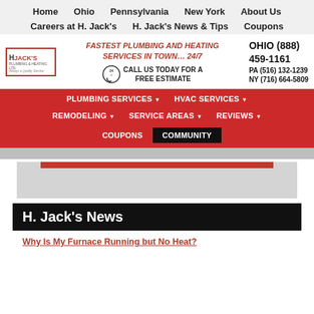Home  Ohio  Pennsylvania  New York  About Us  Careers at H. Jack's  H. Jack's News & Tips  Coupons
[Figure (logo): H. Jack's Plumbing & Heating Ltd. logo]
FASTEST PLUMBING AND HEATING SERVICES IN TOWN… 24/7
CALL US TODAY FOR A FREE ESTIMATE
OHIO (888) 459-1161  PA (516) 132-1239  NY (716) 664-5809
PLUMBING SERVICES  HVAC SERVICES  REMODELING  SERVICE AREAS  REVIEWS  COUPONS  COMMUNITY
H. Jack's News
Why Is My Furnace Running but No Heat?